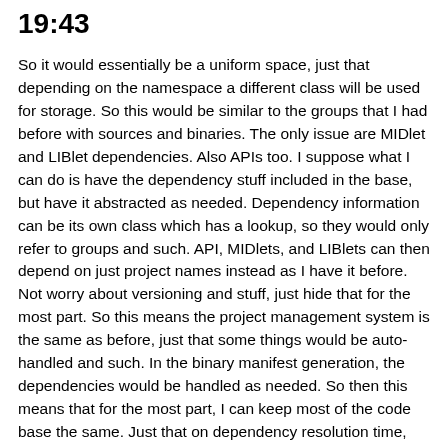19:43
So it would essentially be a uniform space, just that depending on the namespace a different class will be used for storage. So this would be similar to the groups that I had before with sources and binaries. The only issue are MIDlet and LIBlet dependencies. Also APIs too. I suppose what I can do is have the dependency stuff included in the base, but have it abstracted as needed. Dependency information can be its own class which has a lookup, so they would only refer to groups and such. API, MIDlets, and LIBlets can then depend on just project names instead as I have it before. Not worry about versioning and stuff, just hide that for the most part. So this means the project management system is the same as before, just that some things would be auto-handled and such. In the binary manifest generation, the dependencies would be handled as needed. So then this means that for the most part, I can keep most of the code base the same. Just that on dependency resolution time, there will be checks to make sure dependency requires are not violated (such as depending on a MIDlet). For run-time capability, I will need binary only capability. So on output, I will need to store some SquirrelJME build specific stuff in the manifests so the project system can